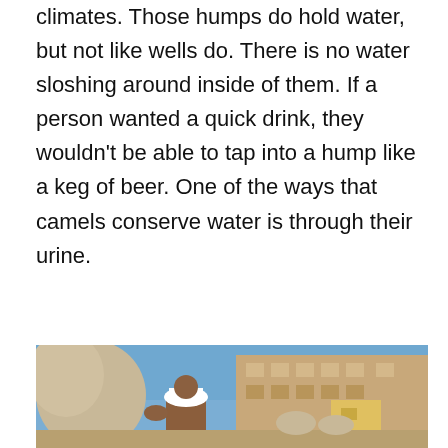climates. Those humps do hold water, but not like wells do. There is no water sloshing around inside of them. If a person wanted a quick drink, they wouldn't be able to tap into a hump like a keg of beer. One of the ways that camels conserve water is through their urine.
[Figure (photo): A man in a white hat stands beside a camel in a desert town setting, with sandy-colored multi-story buildings in the background and other camels visible.]